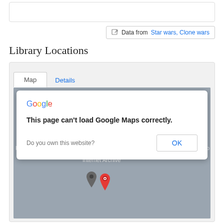[Figure (screenshot): Top white bar / input field area at top of page]
Data from Star wars, Clone wars
Library Locations
[Figure (screenshot): Map card with tabs (Map, Details) showing a Google Maps error dialog: 'This page can't load Google Maps correctly.' with OK button and map background showing 'For development purposes only' watermark and Internet Archive location pin.]